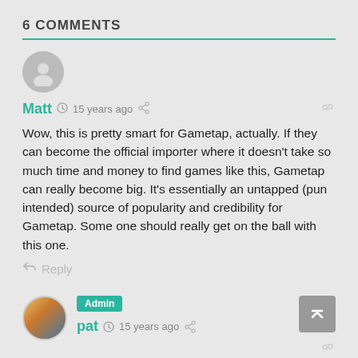6 COMMENTS
Matt  15 years ago
Wow, this is pretty smart for Gametap, actually. If they can become the official importer where it doesn't take so much time and money to find games like this, Gametap can really become big. It's essentially an untapped (pun intended) source of popularity and credibility for Gametap. Some one should really get on the ball with this one.
Reply
Admin  pat  15 years ago